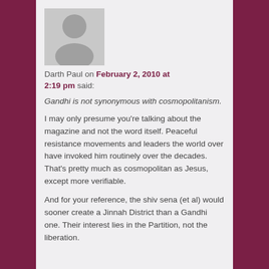[Figure (photo): Generic grey person/avatar placeholder image]
Darth Paul on February 2, 2010 at 2:19 pm said:
Gandhi is not synonymous with cosmopolitanism.
I may only presume you're talking about the magazine and not the word itself. Peaceful resistance movements and leaders the world over have invoked him routinely over the decades. That's pretty much as cosmopolitan as Jesus, except more verifiable.

And for your reference, the shiv sena (et al) would sooner create a Jinnah District than a Gandhi one. Their interest lies in the Partition, not the liberation.